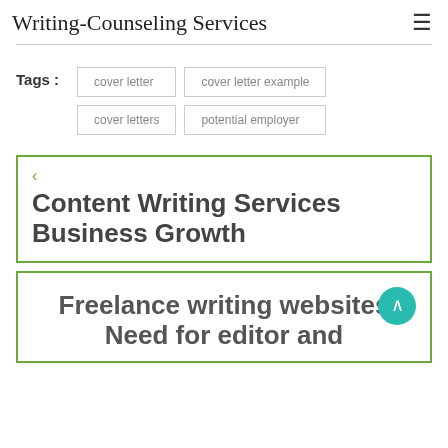Writing-Counseling Services
Tags : cover letter | cover letter example | cover letters | potential employer
< Content Writing Services Business Growth
Freelance writing websites Need for editor and